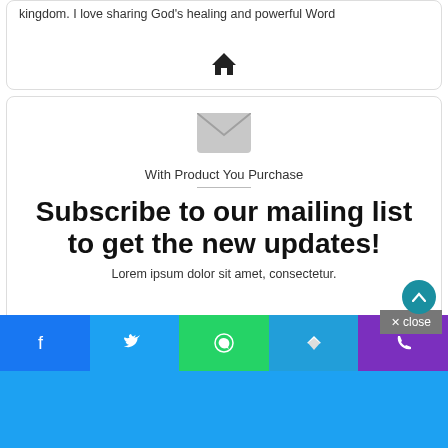kingdom. I love sharing God's healing and powerful Word
[Figure (illustration): Home icon]
[Figure (illustration): Envelope/mail icon]
With Product You Purchase
Subscribe to our mailing list to get the new updates!
Lorem ipsum dolor sit amet, consectetur.
close
Enter your Email address
Subscribe